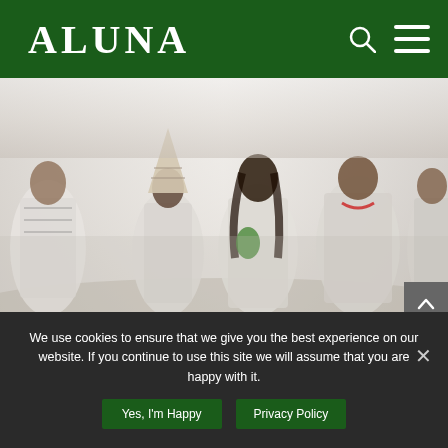ALUNA
[Figure (photo): Group of indigenous people wearing white traditional clothing with striped patterns in a misty outdoor setting]
We use cookies to ensure that we give you the best experience on our website. If you continue to use this site we will assume that you are happy with it.
Yes, I'm Happy
Privacy Policy